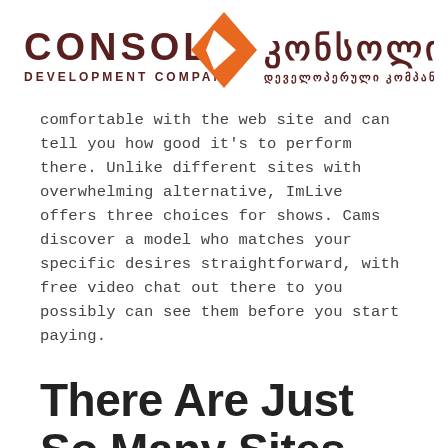[Figure (logo): Console Development Company logo with Georgian text — orange diamond/arrow icon in center, 'CONSOLE' in dark brown on left, Georgian script on right, 'DEVELOPMENT COMPANY' subtitle on left, Georgian subtitle on right]
comfortable with the web site and can tell you how good it's to perform there. Unlike different sites with overwhelming alternative, ImLive offers three choices for shows. Cams discover a model who matches your specific desires straightforward, with free video chat out there to you possibly can see them before you start paying.
There Are Just So Many Sites Now Whats Your Secret